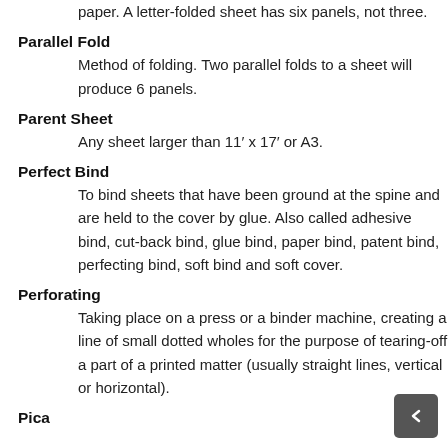paper. A letter-folded sheet has six panels, not three.
Parallel Fold
Method of folding. Two parallel folds to a sheet will produce 6 panels.
Parent Sheet
Any sheet larger than 11′ x 17′ or A3.
Perfect Bind
To bind sheets that have been ground at the spine and are held to the cover by glue. Also called adhesive bind, cut-back bind, glue bind, paper bind, patent bind, perfecting bind, soft bind and soft cover.
Perforating
Taking place on a press or a binder machine, creating a line of small dotted wholes for the purpose of tearing-off a part of a printed matter (usually straight lines, vertical or horizontal).
Pica